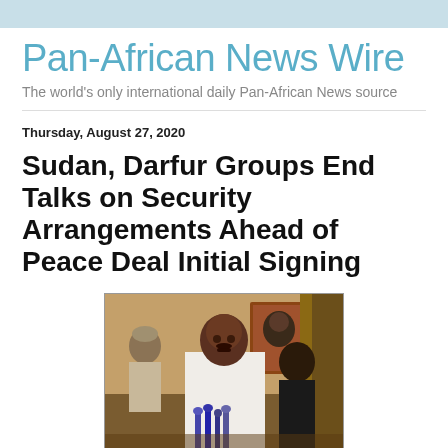Pan-African News Wire
The world's only international daily Pan-African News source
Thursday, August 27, 2020
Sudan, Darfur Groups End Talks on Security Arrangements Ahead of Peace Deal Initial Signing
[Figure (photo): A man in a white traditional garment speaking at a press conference with microphones in front of him, other people visible in the background inside a room with a painting on the wall.]